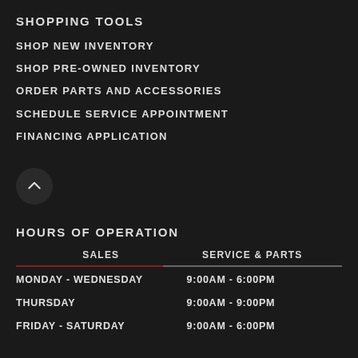SHOPPING TOOLS
SHOP NEW INVENTORY
SHOP PRE-OWNED INVENTORY
ORDER PARTS AND ACCESSORIES
SCHEDULE SERVICE APPOINTMENT
FINANCING APPLICATION
[Figure (other): Scroll-up button — dark circular button with an upward chevron icon]
HOURS OF OPERATION
| SALES | SERVICE & PARTS |
| --- | --- |
| MONDAY - WEDNESDAY | 9:00am - 6:00pm |
| THURSDAY | 9:00am - 9:00pm |
| FRIDAY - SATURDAY | 9:00am - 6:00pm |